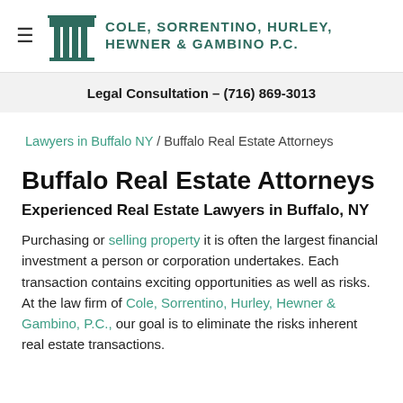Cole, Sorrentino, Hurley, Hewner & Gambino P.C.
Legal Consultation – (716) 869-3013
Lawyers in Buffalo NY / Buffalo Real Estate Attorneys
Buffalo Real Estate Attorneys
Experienced Real Estate Lawyers in Buffalo, NY
Purchasing or selling property it is often the largest financial investment a person or corporation undertakes. Each transaction contains exciting opportunities as well as risks. At the law firm of Cole, Sorrentino, Hurley, Hewner & Gambino, P.C., our goal is to eliminate the risks inherent real estate transactions.